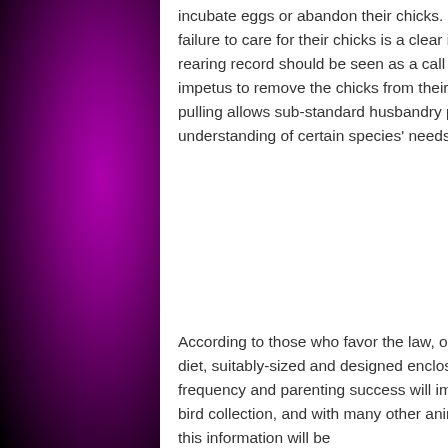incubate eggs or abandon their chicks. However, the Dutch Parrot Society maintains that a pair's failure to care for their chicks is a clear indication of bad husbandry practices. A poor chick-rearing record should be seen as a call for more research and better living conditions, not as an impetus to remove the chicks from their parents. Viewed in this way, one might say that chick-pulling allows sub-standard husbandry practices to continue, and does little to add to our understanding of certain species' needs.
According to those who favor the law, once parrots are provided with a proper species-specific diet, suitably-sized and designed enclosures and other appropriate conditions, both breeding frequency and parenting success will improve. My experience with the Bronx Zoo's huge, diverse bird collection, and with many other animal groups, also bears this out. Well, I'm not sure how this information will be